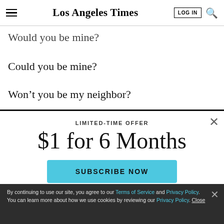Los Angeles Times | LOG IN
Would you be mine?
Could you be mine?
Won't you be my neighbor?
LIMITED-TIME OFFER
$1 for 6 Months
SUBSCRIBE NOW
By continuing to use our site, you agree to our Terms of Service and Privacy Policy. You can learn more about how we use cookies by reviewing our Privacy Policy. Close